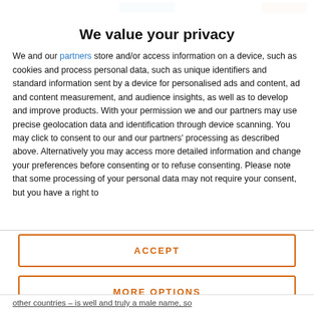We value your privacy
We and our partners store and/or access information on a device, such as cookies and process personal data, such as unique identifiers and standard information sent by a device for personalised ads and content, ad and content measurement, and audience insights, as well as to develop and improve products. With your permission we and our partners may use precise geolocation data and identification through device scanning. You may click to consent to our and our partners' processing as described above. Alternatively you may access more detailed information and change your preferences before consenting or to refuse consenting. Please note that some processing of your personal data may not require your consent, but you have a right to
ACCEPT
MORE OPTIONS
other countries – is well and truly a male name, so